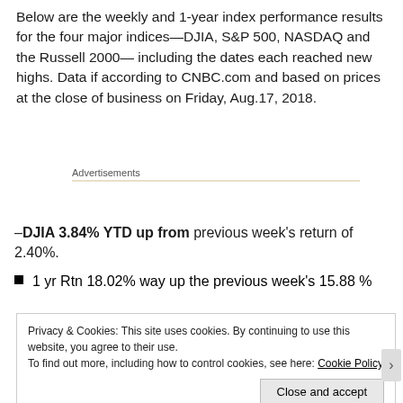Below are the weekly and 1-year index performance results for the four major indices—DJIA, S&P 500, NASDAQ and the Russell 2000— including the dates each reached new highs. Data if according to CNBC.com and based on prices at the close of business on Friday, Aug.17, 2018.
Advertisements
–DJIA 3.84% YTD up from previous week's return of 2.40%.
1 yr Rtn 18.02% way up the previous week's 15.88 %
Privacy & Cookies: This site uses cookies. By continuing to use this website, you agree to their use. To find out more, including how to control cookies, see here: Cookie Policy
Close and accept